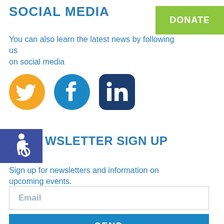SOCIAL MEDIA
[Figure (other): Green DONATE button]
You can also learn the latest news by following us on social media
[Figure (other): Social media icons: Twitter (orange), Facebook (blue), LinkedIn (dark blue)]
[Figure (other): Purple accessibility icon badge]
NEWSLETTER SIGN UP
Sign up for newsletters and information on upcoming events.
[Figure (other): Email input field with placeholder text 'Email']
[Figure (other): Blue SEND button]